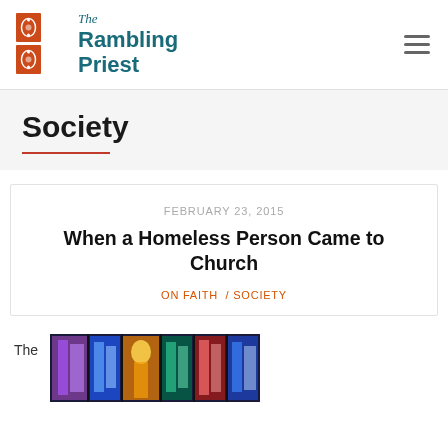The Rambling Priest
Society
FEBRUARY 23, 2015
When a Homeless Person Came to Church
ON FAITH / SOCIETY
The
[Figure (photo): Stained glass window with colorful religious imagery]